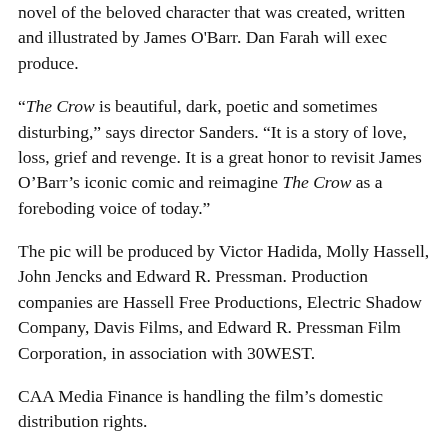novel of the beloved character that was created, written and illustrated by James O'Barr. Dan Farah will exec produce.
“The Crow is beautiful, dark, poetic and sometimes disturbing,” says director Sanders. “It is a story of love, loss, grief and revenge. It is a great honor to revisit James O’Barr’s iconic comic and reimagine The Crow as a foreboding voice of today.”
The pic will be produced by Victor Hadida, Molly Hassell, John Jencks and Edward R. Pressman. Production companies are Hassell Free Productions, Electric Shadow Company, Davis Films, and Edward R. Pressman Film Corporation, in association with 30WEST.
CAA Media Finance is handling the film’s domestic distribution rights.
The pic a modern reimagining of the titular character, based on the graphic novel series by James O’Barr that was first published by Caliber Comics in 1989. Director Alex Proyas brought the story to